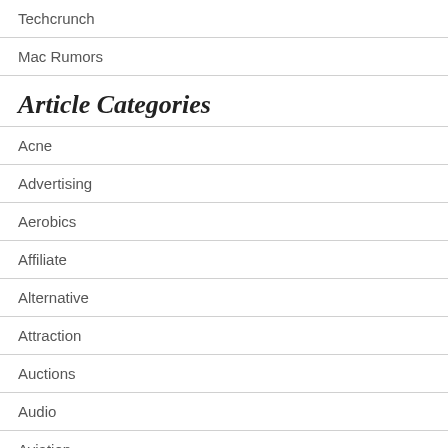Techcrunch
Mac Rumors
Article Categories
Acne
Advertising
Aerobics
Affiliate
Alternative
Attraction
Auctions
Audio
Aviation